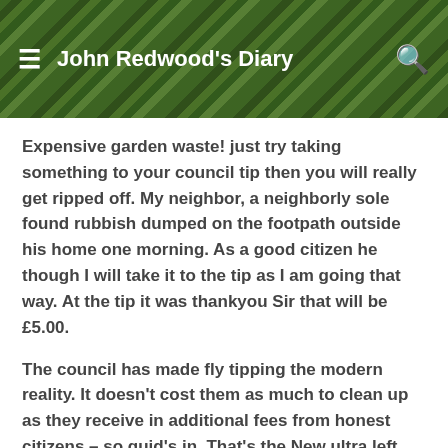John Redwood's Diary
Expensive garden waste! just try taking something to your council tip then you will really get ripped off. My neighbor, a neighborly sole found rubbish dumped on the footpath outside his home one morning. As a good citizen he though I will take it to the tip as I am going that way. At the tip it was thankyou Sir that will be £5.00.
The council has made fly tipping the modern reality. It doesn't cost them as much to clean up as they receive in additional fees from honest citizens – so quid's in. That's the New ultra left wing Wokingham Council.
It is the same thinking behind high parking charges, the new ever powerful parking wardens. Money, money, money we need it so we can waste it.